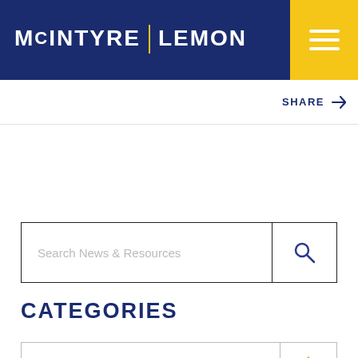MCINTYRE | LEMON
SHARE
[Figure (screenshot): Search bar with placeholder text 'Search News & Resources' and a search icon button]
CATEGORIES
[Figure (screenshot): Category dropdown selector with 'Select a Category' placeholder and an orange sort/select icon]